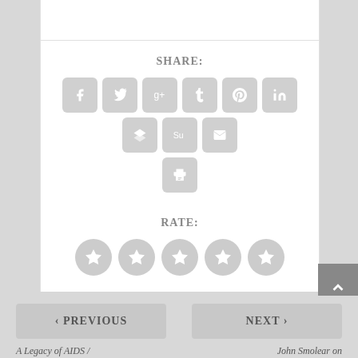SHARE:
[Figure (infographic): Social sharing icons: Facebook, Twitter, Google+, Tumblr, Pinterest, LinkedIn, Buffer, StumbleUpon, Email, Print — all gray rounded square buttons]
RATE:
[Figure (infographic): Five gray circle star rating buttons]
< PREVIOUS
A Legacy of AIDS /
NEXT >
John Smolear on